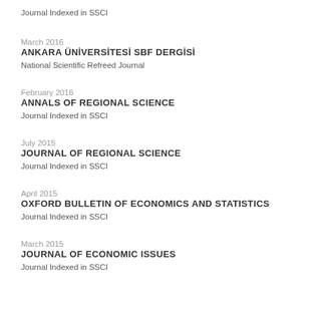Journal Indexed in SSCI
March 2016
ANKARA ÜNİVERSİTESİ SBF DERGİSİ
National Scientific Refreed Journal
February 2016
ANNALS OF REGIONAL SCIENCE
Journal Indexed in SSCI
July 2015
JOURNAL OF REGIONAL SCIENCE
Journal Indexed in SSCI
April 2015
OXFORD BULLETIN OF ECONOMICS AND STATISTICS
Journal Indexed in SSCI
March 2015
JOURNAL OF ECONOMIC ISSUES
Journal Indexed in SSCI